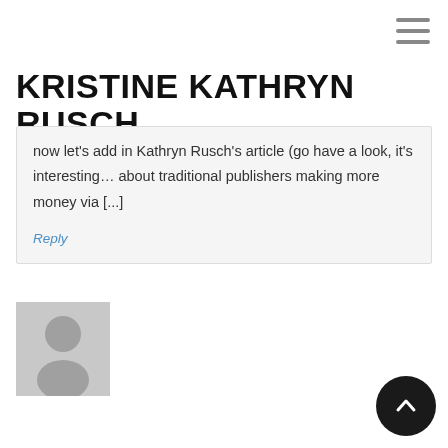KRISTINE KATHRYN RUSCH
now let's add in Kathryn Rusch's article (go have a look, it's interesting… about traditional publishers making more money via [...]
Reply
[Figure (illustration): User avatar placeholder — grey silhouette of a person on grey background]